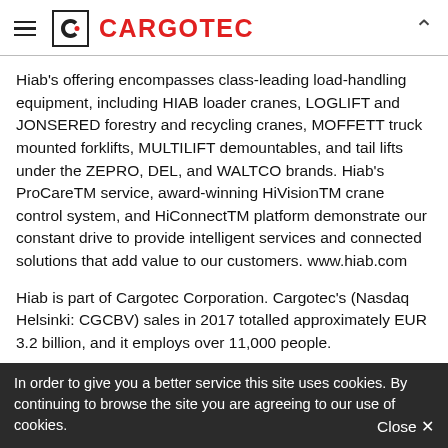CARGOTEC
Hiab's offering encompasses class-leading load-handling equipment, including HIAB loader cranes, LOGLIFT and JONSERED forestry and recycling cranes, MOFFETT truck mounted forklifts, MULTILIFT demountables, and tail lifts under the ZEPRO, DEL, and WALTCO brands. Hiab's ProCareTM service, award-winning HiVisionTM crane control system, and HiConnectTM platform demonstrate our constant drive to provide intelligent services and connected solutions that add value to our customers. www.hiab.com
Hiab is part of Cargotec Corporation. Cargotec's (Nasdaq Helsinki: CGCBV) sales in 2017 totalled approximately EUR 3.2 billion, and it employs over 11,000 people.
In order to give you a better service this site uses cookies. By continuing to browse the site you are agreeing to our use of cookies.